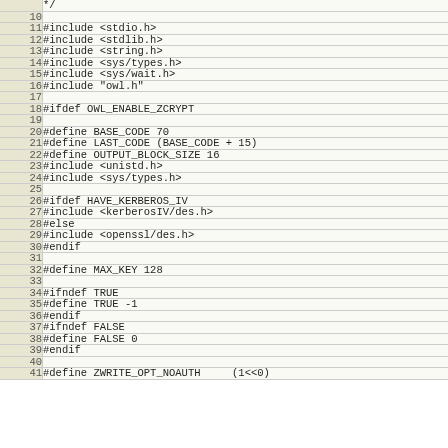Source code listing lines 9-41, C preprocessor directives and includes